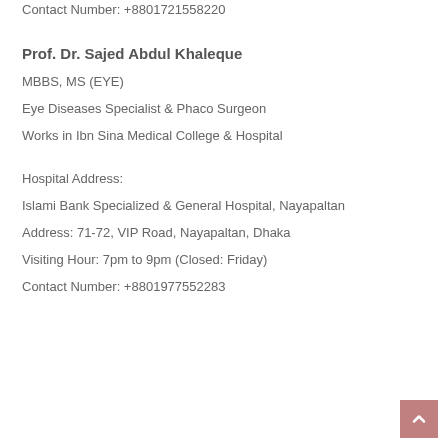Contact Number: +8801721558220
Prof. Dr. Sajed Abdul Khaleque
MBBS, MS (EYE)
Eye Diseases Specialist & Phaco Surgeon
Works in Ibn Sina Medical College & Hospital
Hospital Address:
Islami Bank Specialized & General Hospital, Nayapaltan
Address: 71-72, VIP Road, Nayapaltan, Dhaka
Visiting Hour: 7pm to 9pm (Closed: Friday)
Contact Number: +8801977552283